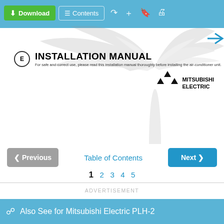[Figure (screenshot): Web viewer toolbar with Download (green button), Contents button, and navigation icons on blue background]
[Figure (screenshot): Document cover page showing palm tree watermark background, 'E INSTALLATION MANUAL' heading with Mitsubishi Electric logo]
E  INSTALLATION MANUAL
For safe and correct use, please read this installation manual thoroughly before installing the air-conditioner unit.
MITSUBISHI ELECTRIC
< Previous   Table of Contents   Next >
1  2  3  4  5
ADVERTISEMENT
Also See for Mitsubishi Electric PLH-2